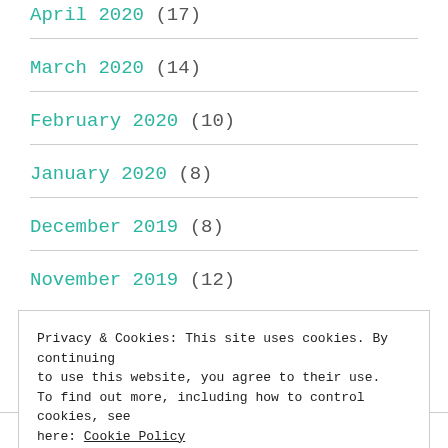April 2020 (17)
March 2020 (14)
February 2020 (10)
January 2020 (8)
December 2019 (8)
November 2019 (12)
Privacy & Cookies: This site uses cookies. By continuing to use this website, you agree to their use. To find out more, including how to control cookies, see here: Cookie Policy
August 2019 (22)